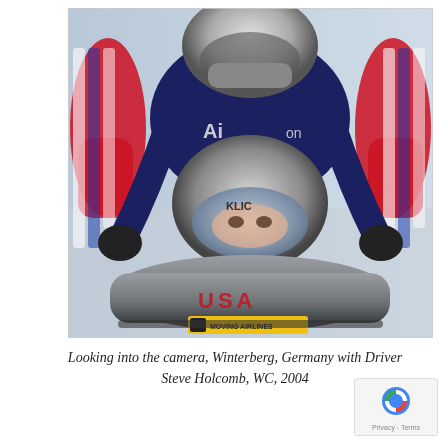[Figure (photo): Two bobsled athletes in USA uniforms and helmets pushing or riding a bobsled marked 'USA' with a yellow sticker reading 'MOVING AIRLINES'. The front athlete looks directly into the camera. Photo taken in Winterberg, Germany at a World Cup event in 2004 with Driver Steve Holcomb.]
Looking into the camera, Winterberg, Germany with Driver Steve Holcomb, WC, 2004